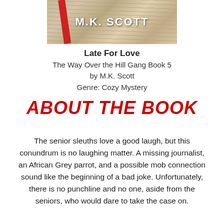[Figure (photo): Book cover image showing stacked papers/newspapers with a red diagonal element and the author name M.K. SCOTT in white text]
Late For Love
The Way Over the Hill Gang Book 5
by M.K. Scott
Genre: Cozy Mystery
About The Book
The senior sleuths love a good laugh, but this conundrum is no laughing matter. A missing journalist, an African Grey parrot, and a possible mob connection sound like the beginning of a bad joke. Unfortunately, there is no punchline and no one, aside from the seniors, who would dare to take the case on.